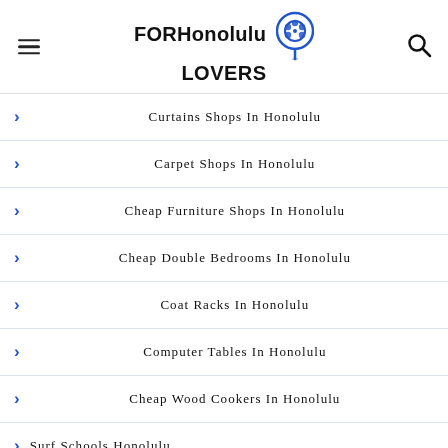FOR Honolulu LOVERS
Curtains Shops In Honolulu
Carpet Shops In Honolulu
Cheap Furniture Shops In Honolulu
Cheap Double Bedrooms In Honolulu
Coat Racks In Honolulu
Computer Tables In Honolulu
Cheap Wood Cookers In Honolulu
Surf Schools Honolulu